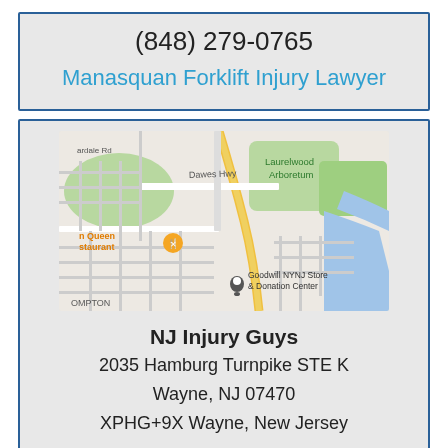(848) 279-0765
Manasquan Forklift Injury Lawyer
[Figure (map): Google Maps screenshot showing area near Wayne, NJ with landmarks including Laurelwood Arboretum, Goodwill NYNJ Store & Donation Center, Dawes Hwy, and a restaurant icon]
NJ Injury Guys
2035 Hamburg Turnpike STE K
Wayne, NJ 07470
XPHG+9X Wayne, New Jersey